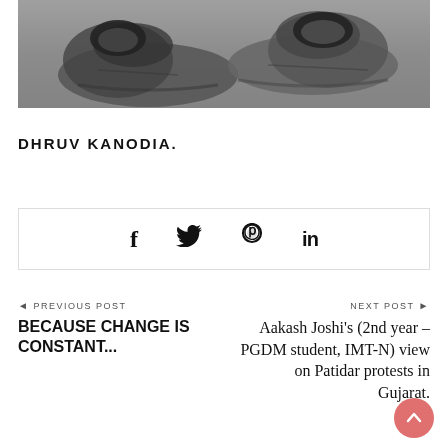[Figure (photo): Black and white photograph of worn/damaged athletic shoes from above]
DHRUV KANODIA.
[Figure (infographic): Social sharing icons: Facebook (f), Twitter, Pinterest, LinkedIn]
◄ PREVIOUS POST
BECAUSE CHANGE IS CONSTANT...
NEXT POST ►
Aakash Joshi's (2nd year – PGDM student, IMT-N) view on Patidar protests in Gujarat.